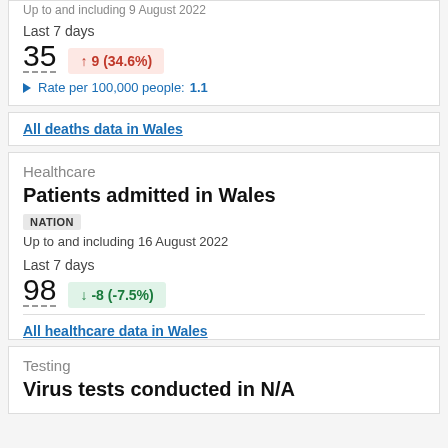Up to and including 9 August 2022
Last 7 days
35  ↑ 9 (34.6%)
▶ Rate per 100,000 people: 1.1
All deaths data in Wales
Healthcare
Patients admitted in Wales
NATION
Up to and including 16 August 2022
Last 7 days
98  ↓ -8 (-7.5%)
All healthcare data in Wales
Testing
Virus tests conducted in N/A